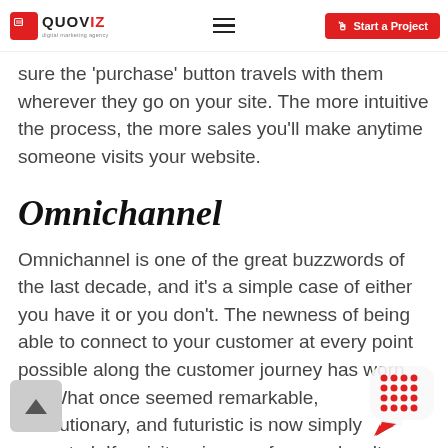QUOVIZ | Start a Project
sure the 'purchase' button travels with them wherever they go on your site. The more intuitive the process, the more sales you'll make anytime someone visits your website.
Omnichannel
Omnichannel is one of the great buzzwords of the last decade, and it's a simple case of either you have it or you don't. The newness of being able to connect to your customer at every point possible along the customer journey has worn off. What once seemed remarkable, revolutionary, and futuristic is now simply expected. If a visitor signs up for your loyalty program on your website, they